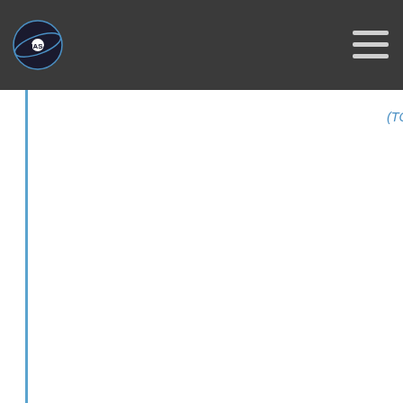NASA logo and navigation header
(TOI-1640 b)
Rodriguez López, C.; Li Box, J.; Pallé E.; Espinoza N.; Caballero J. A.; Quirrenbach, A.; Ribas, I.; Reiners, A.; Narita, N.; Hirano, T.; Amado, P. J.; Béjar, V. J. S.; Bluhm, P.; Burke, C. J.; Caldwell, D. A.; Charbonneau D.; Cloutier, R.; Collins, K. A.; Cortés